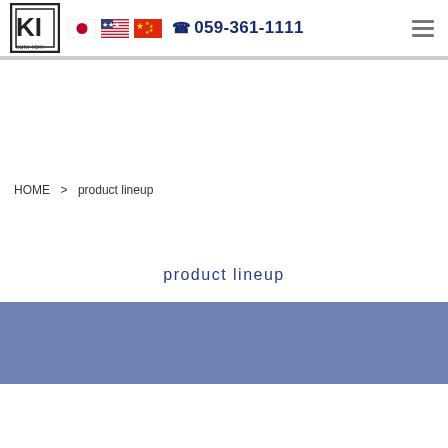KUNI-ICHI logo, Japanese flag, US flag, Chinese flag, ☎ 059-361-1111, hamburger menu
HOME > product lineup
product lineup
[Figure (other): Blue/slate banner section background]